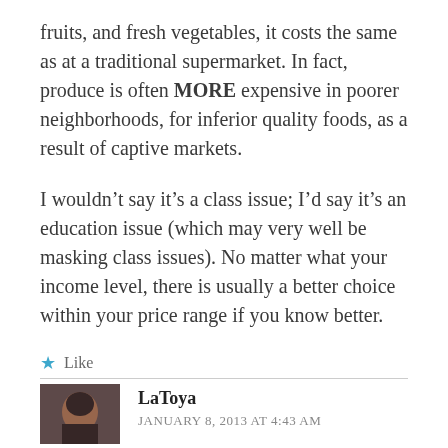fruits, and fresh vegetables, it costs the same as at a traditional supermarket. In fact, produce is often MORE expensive in poorer neighborhoods, for inferior quality foods, as a result of captive markets.
I wouldn’t say it’s a class issue; I’d say it’s an education issue (which may very well be masking class issues). No matter what your income level, there is usually a better choice within your price range if you know better.
★ Like
Reply
LaToya
JANUARY 8, 2013 AT 4:43 AM